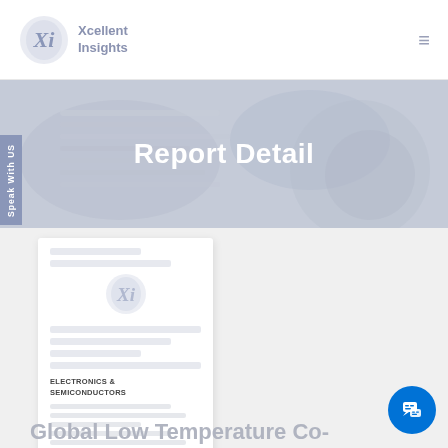Xcellent Insights
Report Detail
Speak With US
[Figure (logo): Xcellent Insights logo watermark on report card]
ELECTRONICS & SEMICONDUCTORS
Global Low Temperature Co-